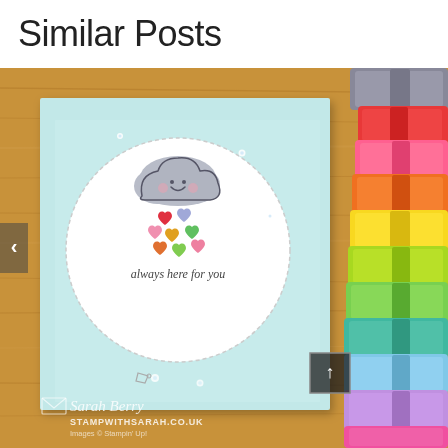Similar Posts
[Figure (photo): A handmade greeting card featuring a smiling cloud with colorful hearts falling like rain on a white die-cut circle panel, placed on a light blue card base with vellum overlay, text 'always here for you', surrounded by colorful markers/stamps on a wooden background. Watermark reads 'Sarah Berry STAMPWITHSARAH.CO.UK'.]